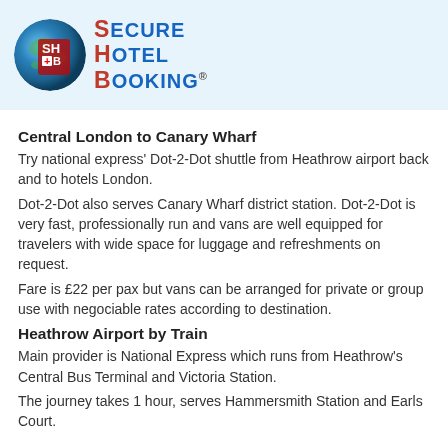[Figure (logo): Secure Hotel Booking logo with globe and red/blue text]
Central London to Canary Wharf
Try national express' Dot-2-Dot shuttle from Heathrow airport back and to hotels London.
Dot-2-Dot also serves Canary Wharf district station. Dot-2-Dot is very fast, professionally run and vans are well equipped for travelers with wide space for luggage and refreshments on request.
Fare is £22 per pax but vans can be arranged for private or group use with negociable rates according to destination.
Heathrow Airport by Train
Main provider is National Express which runs from Heathrow's Central Bus Terminal and Victoria Station.
The journey takes 1 hour, serves Hammersmith Station and Earls Court.